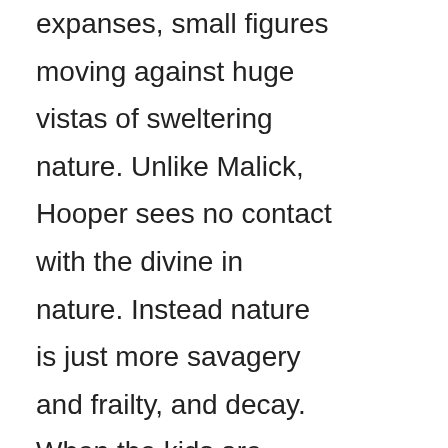expanses, small figures moving against huge vistas of sweltering nature. Unlike Malick, Hooper sees no contact with the divine in nature. Instead nature is just more savagery and frailty, and decay. When the kids are photographed as they get closer to the house, the cameras drop lower and we see their bodies take on the size and significance of the landscape, right before they are dispatched.